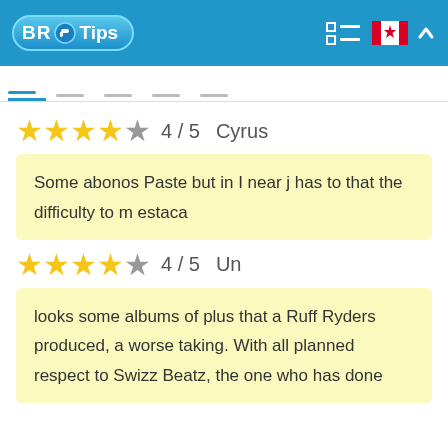BR Tips
4 / 5  Cyrus
Some abonos Paste but in I near j has to that the difficulty to m estaca
4 / 5  Un
looks some albums of plus that a Ruff Ryders produced, a worse taking. With all planned respect to Swizz Beatz, the one who has done